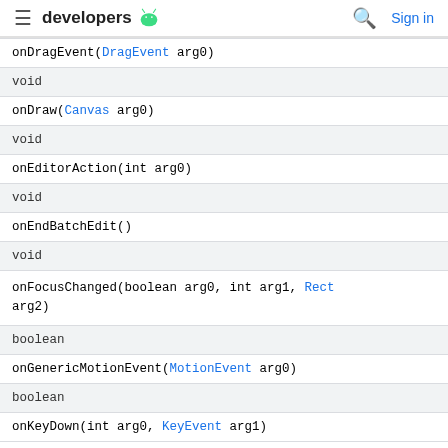≡ developers 🤖  🔍 Sign in
| onDragEvent(DragEvent arg0) |
| void |
| onDraw(Canvas arg0) |
| void |
| onEditorAction(int arg0) |
| void |
| onEndBatchEdit() |
| void |
| onFocusChanged(boolean arg0, int arg1, Rect arg2) |
| boolean |
| onGenericMotionEvent(MotionEvent arg0) |
| boolean |
| onKeyDown(int arg0, KeyEvent arg1) |